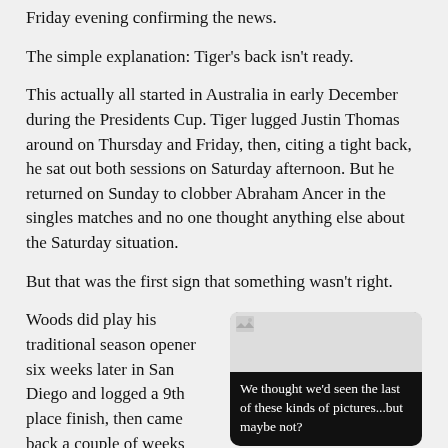Friday evening confirming the news.
The simple explanation: Tiger's back isn't ready.
This actually all started in Australia in early December during the Presidents Cup. Tiger lugged Justin Thomas around on Thursday and Friday, then, citing a tight back, he sat out both sessions on Saturday afternoon. But he returned on Sunday to clobber Abraham Ancer in the singles matches and no one thought anything else about the Saturday situation.
But that was the first sign that something wasn't right.
[Figure (photo): Image placeholder with caption: We thought we'd seen the last of these kinds of pictures...but maybe not?]
We thought we'd seen the last of these kinds of pictures...but maybe not?
Woods did play his traditional season opener six weeks later in San Diego and logged a 9th place finish, then came back a couple of weeks after that at the Genesis and slapped it around for four days of unTiger-like golf. Some played it